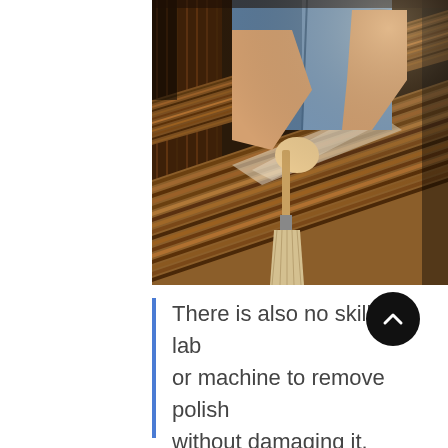[Figure (photo): A person applying wood stain or finish to a wooden board using a wide paintbrush. The person holds a can of stain in one hand and brushes the clear/white finish onto striped wood grain. Multiple wooden boards are visible in the background in what appears to be a workshop.]
There is also no skilled lab or machine to remove polish without damaging it.